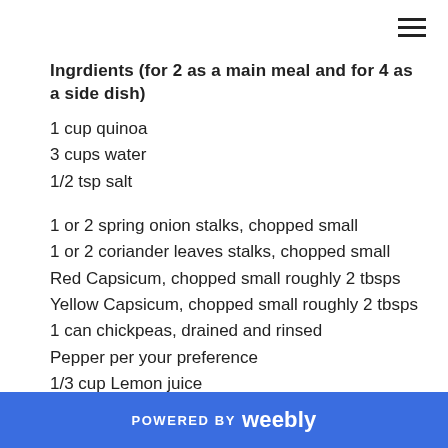Ingrdients (for 2 as a main meal and for 4 as a side dish)
1 cup quinoa
3 cups water
1/2 tsp salt
1 or 2 spring onion stalks, chopped small
1 or 2 coriander leaves stalks, chopped small
Red Capsicum, chopped small roughly 2 tbsps
Yellow Capsicum, chopped small roughly 2 tbsps
1 can chickpeas, drained and rinsed
Pepper per your preference
1/3 cup Lemon juice
POWERED BY weebly